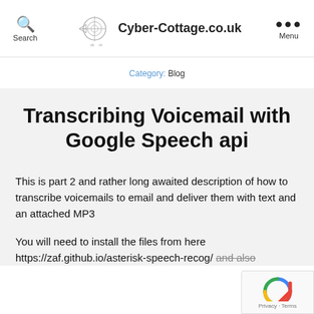Search | Cyber-Cottage.co.uk | Menu
Category: Blog
Transcribing Voicemail with Google Speech api
This is part 2 and rather long awaited description of how to transcribe voicemails to email and deliver them with text and an attached MP3
You will need to install the files from here https://zaf.github.io/asterisk-speech-recog/ and also